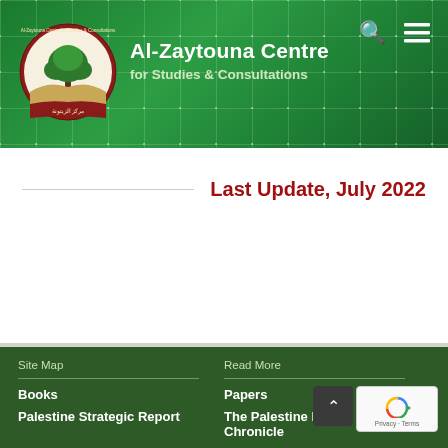Al-Zaytouna Centre for Studies & Consultations
Last Update, July 2022
Site Map | Read More | Books | Papers | Palestine Strategic Report | The Palestine Daily Chronicle